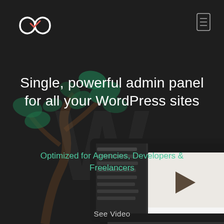[Figure (logo): Infinity loop logo with a checkmark/arrow accent in coral/red, white outline, top-left corner]
[Figure (other): Hamburger/menu icon rectangle outline, top-right corner]
Single, powerful admin panel for all your WordPress sites
Optimized for Agencies, Developers & Freelancers
[Figure (screenshot): Tablet showing a WordPress admin dashboard interface with a list of sites, with a video play button overlay and 'See Video' label below]